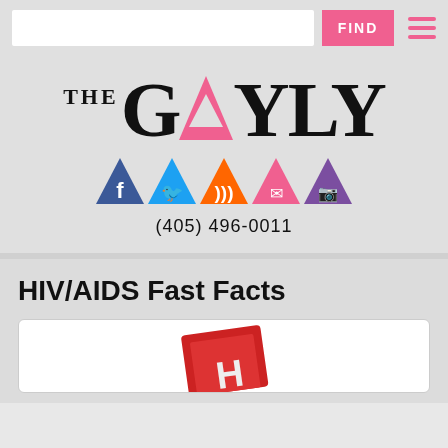[Figure (logo): The Gayly website header with search bar, FIND button, and hamburger menu]
[Figure (logo): The Gayly logo with triangle icon replacing the A in GAYLY, social media icons (Facebook, Twitter, RSS, Email, Instagram), and phone number (405) 496-0011]
HIV/AIDS Fast Facts
[Figure (photo): Partial image of a red book or material with letter H visible at bottom of page]